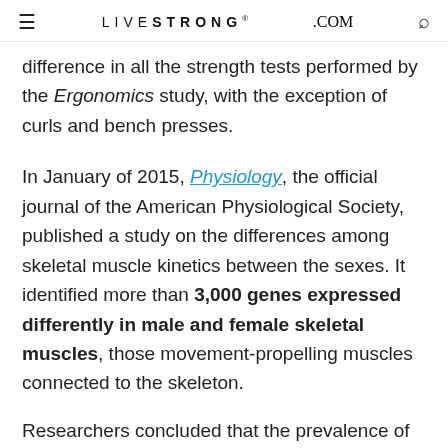LIVESTRONG.COM
difference in all the strength tests performed by the Ergonomics study, with the exception of curls and bench presses.
In January of 2015, Physiology, the official journal of the American Physiological Society, published a study on the differences among skeletal muscle kinetics between the sexes. It identified more than 3,000 genes expressed differently in male and female skeletal muscles, those movement-propelling muscles connected to the skeleton.
Researchers concluded that the prevalence of slower-moving muscle fibers in female muscles (type II A and type I) compared to those of males enhanced